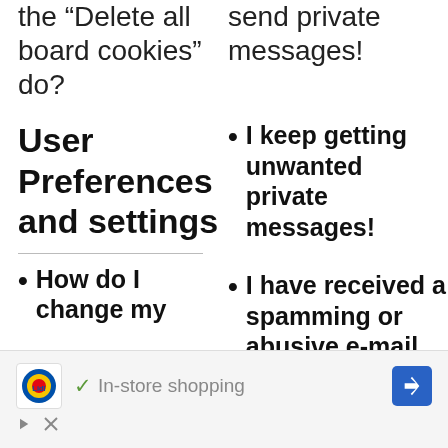the “Delete all board cookies” do?
send private messages!
User Preferences and settings
I keep getting unwanted private messages!
How do I change my
I have received a spamming or abusive e-mail from someone on
[Figure (infographic): Lidl advertisement banner with logo, checkmark, 'In-store shopping' text, navigation arrow, play and close buttons]